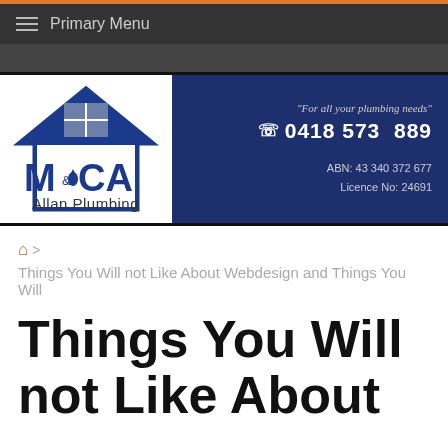Primary Menu
[Figure (logo): M&CA Allan Plumbing logo with house icon and blue text, alongside contact info: 'For all your plumbing needs', phone 0418 573 889, ABN: 43 340 372 677, Licence No: 24691]
Home > Things You Will not Like About Webdesign and Things You Will
Things You Will not Like About